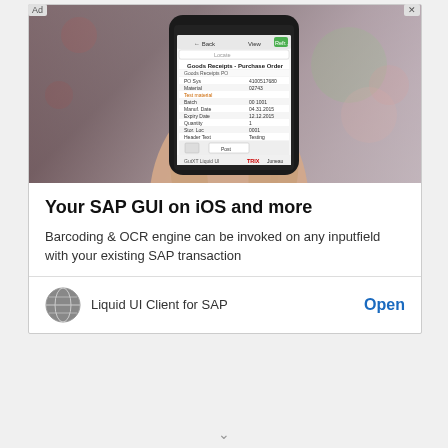[Figure (screenshot): Mobile advertisement showing a hand holding a smartphone displaying a SAP GUI 'Goods Receipts - Purchase Order' form screen, with blurred city background]
Your SAP GUI on iOS and more
Barcoding & OCR engine can be invoked on any inputfield with your existing SAP transaction
Liquid UI Client for SAP
Open